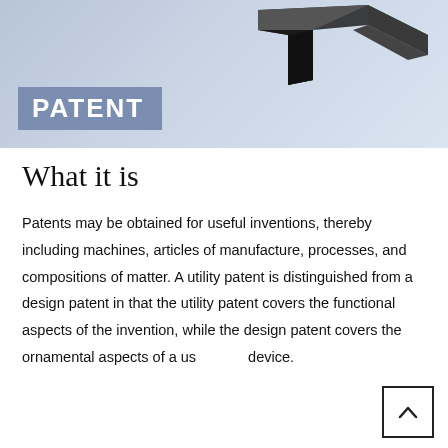[Figure (photo): Header image with a dark 3D geometric shape (angular bracket/rail piece) against a light blue-grey gradient background, with a 'PATENT' badge overlay in white text on a slate-blue rectangle in the bottom-left corner.]
What it is
Patents may be obtained for useful inventions, thereby including machines, articles of manufacture, processes, and compositions of matter. A utility patent is distinguished from a design patent in that the utility patent covers the functional aspects of the invention, while the design patent covers the ornamental aspects of a useful device.